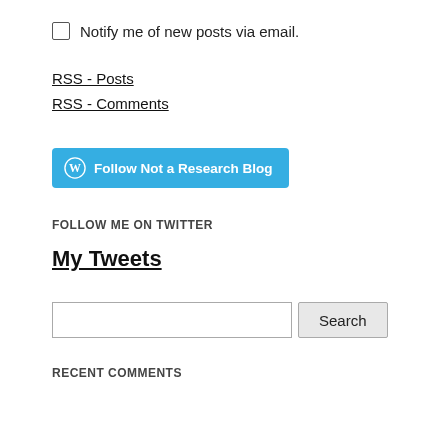Notify me of new posts via email.
RSS - Posts
RSS - Comments
[Figure (other): Follow Not a Research Blog button with WordPress logo]
FOLLOW ME ON TWITTER
My Tweets
Search
RECENT COMMENTS